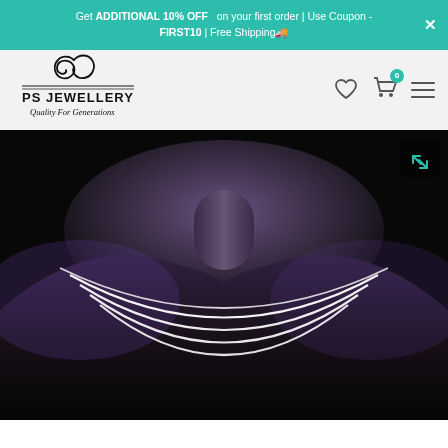Get ADDITIONAL 10% OFF on your first order | Use Coupon - FIRST10 | Free Shipping🚚
[Figure (logo): PS Jewellery logo with decorative swirl and tagline 'Quality For Generations']
[Figure (photo): Close-up photo of a person's neck and shoulders wearing a multi-strand silver necklace against a dark dramatic background with purple lighting]